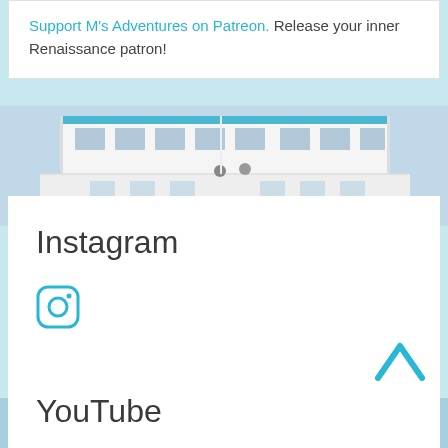Support M's Adventures on Patreon. Release your inner Renaissance patron!
[Figure (photo): A white multi-deck boat/ferry photographed from below against a light blue sky]
Instagram
[Figure (logo): Instagram logo icon in teal/cyan color]
[Figure (photo): Ocean water surface with light reflections, light blue color]
[Figure (other): Teal upward-pointing chevron/arrow for back-to-top navigation]
YouTube